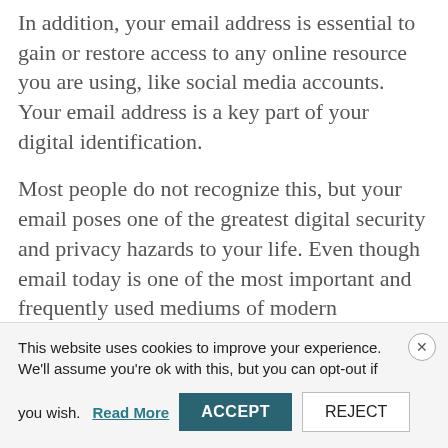In addition, your email address is essential to gain or restore access to any online resource you are using, like social media accounts. Your email address is a key part of your digital identification.
Most people do not recognize this, but your email poses one of the greatest digital security and privacy hazards to your life. Even though email today is one of the most important and frequently used mediums of modern communication, and your mailbox contains your private life and identity; you
This website uses cookies to improve your experience. We'll assume you're ok with this, but you can opt-out if you wish. Read More ACCEPT REJECT